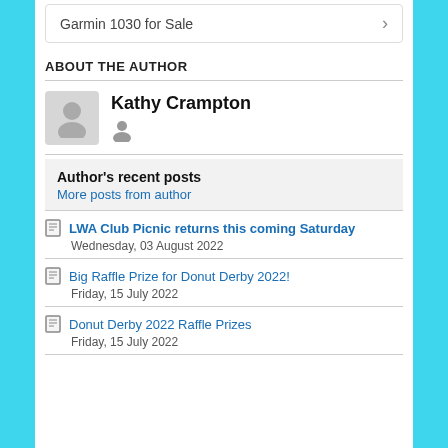Garmin 1030 for Sale
ABOUT THE AUTHOR
Kathy Crampton
Author's recent posts
More posts from author
LWA Club Picnic returns this coming Saturday
Wednesday, 03 August 2022
Big Raffle Prize for Donut Derby 2022!
Friday, 15 July 2022
Donut Derby 2022 Raffle Prizes
Friday, 15 July 2022